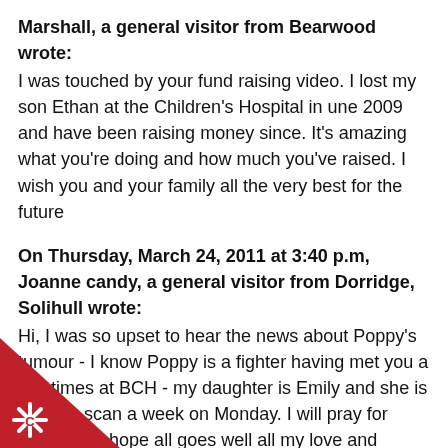Marshall, a general visitor from Bearwood wrote: I was touched by your fund raising video. I lost my son Ethan at the Children's Hospital in une 2009 and have been raising money since. It's amazing what you're doing and how much you've raised. I wish you and your family all the very best for the future
On Thursday, March 24, 2011 at 3:40 p.m, Joanne candy, a general visitor from Dorridge, Solihull wrote: Hi, I was so upset to hear the news about Poppy's tumour - I know Poppy is a fighter having met you a few times at BCH - my daughter is Emily and she is due her scan a week on Monday. I will pray for Poppy and hope all goes well all my love and support Jo and Emily xxx
[Figure (logo): Red triangle watermark with a white star/asterisk-like icon with letter C in the bottom-left corner]